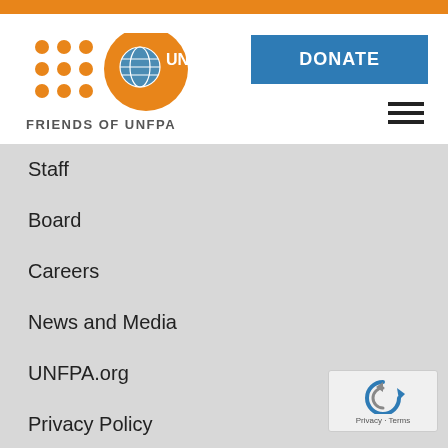[Figure (logo): Friends of UNFPA logo with orange dot grid and UNFPA circle badge, with text FRIENDS OF UNFPA below]
DONATE
Staff
Board
Careers
News and Media
UNFPA.org
Privacy Policy
CONTACT US
ADDRESS
[Figure (logo): reCAPTCHA widget with rotating arrows logo and Privacy · Terms text]